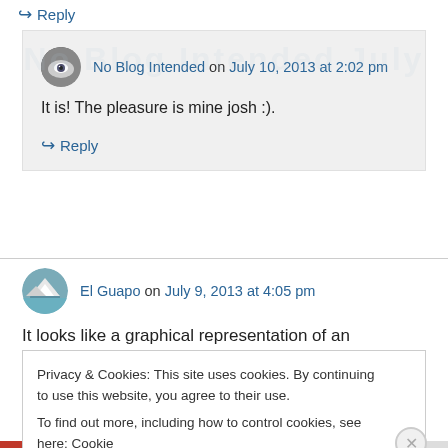↪ Reply
No Blog Intended on July 10, 2013 at 2:02 pm
It is! The pleasure is mine josh :).
↪ Reply
El Guapo on July 9, 2013 at 4:05 pm
It looks like a graphical representation of an
Privacy & Cookies: This site uses cookies. By continuing to use this website, you agree to their use.
To find out more, including how to control cookies, see here: Cookie Policy
Close and accept